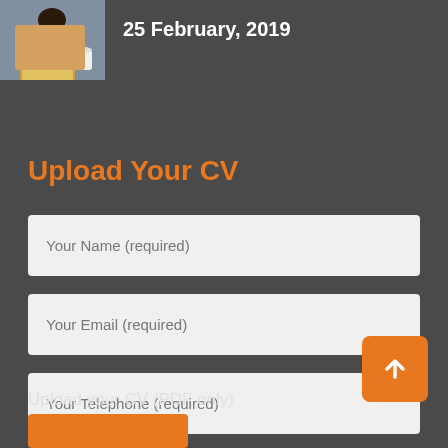[Figure (photo): Photo of a woman holding a laptop and a cup, used as a profile or header image]
25 February, 2019
Upload Your CV
Your Name (required)
Your Email (required)
Your Telephone (required)
[Figure (illustration): Orange upload button with upward arrow icon]
Upload your CV (PDF only)